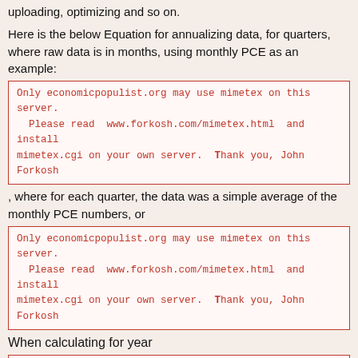uploading, optimizing and so on.
Here is the below Equation for annualizing data, for quarters, where raw data is in months, using monthly PCE as an example:
, where for each quarter, the data was a simple average of the monthly PCE numbers, or
When calculating for year
, where for each quarter, the data was a simple average of the quarterly real GDP numbers, or